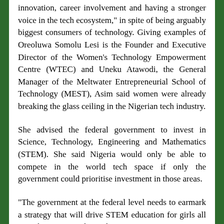innovation, career involvement and having a stronger voice in the tech ecosystem," in spite of being arguably biggest consumers of technology. Giving examples of Oreoluwa Somolu Lesi is the Founder and Executive Director of the Women's Technology Empowerment Centre (WTEC) and Uneku Atawodi, the General Manager of the Meltwater Entrepreneurial School of Technology (MEST), Asim said women were already breaking the glass ceiling in the Nigerian tech industry.
She advised the federal government to invest in Science, Technology, Engineering and Mathematics (STEM). She said Nigeria would only be able to compete in the world tech space if only the government could prioritise investment in those areas.
"The government at the federal level needs to earmark a strategy that will drive STEM education for girls all over the country," she said.